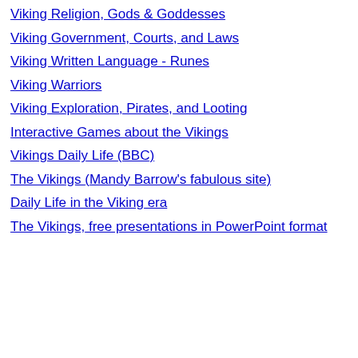Viking Religion, Gods & Goddesses
Viking Government, Courts, and Laws
Viking Written Language - Runes
Viking Warriors
Viking Exploration, Pirates, and Looting
Interactive Games about the Vikings
Vikings Daily Life (BBC)
The Vikings (Mandy Barrow's fabulous site)
Daily Life in the Viking era
The Vikings, free presentations in PowerPoint format